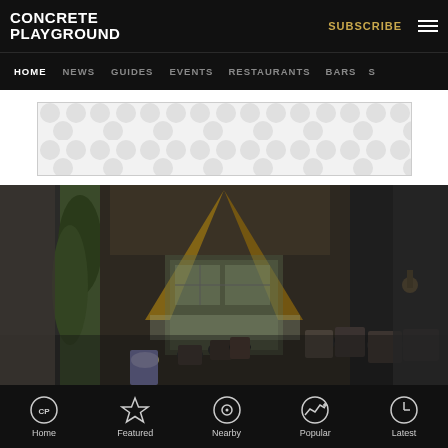CONCRETE PLAYGROUND
HOME | NEWS | GUIDES | EVENTS | RESTAURANTS | BARS
[Figure (other): Advertisement banner with grey circular pattern on white background]
[Figure (photo): Crowded outdoor venue in an alleyway with A-frame glass structure, people socializing, warm lighting, brick walls and dark timber cladding]
Home | Featured | Nearby | Popular | Latest